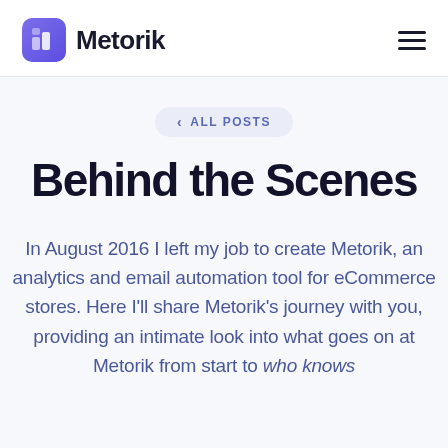Metorik
< ALL POSTS
Behind the Scenes
In August 2016 I left my job to create Metorik, an analytics and email automation tool for eCommerce stores. Here I'll share Metorik's journey with you, providing an intimate look into what goes on at Metorik from start to who knows